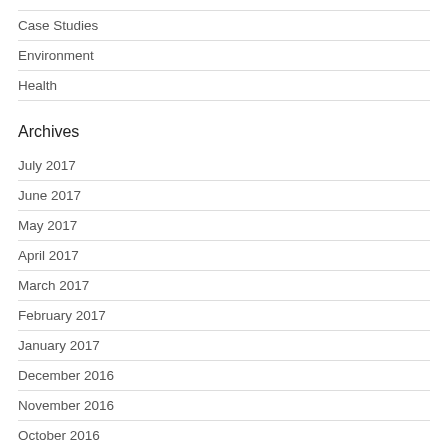Case Studies
Environment
Health
Archives
July 2017
June 2017
May 2017
April 2017
March 2017
February 2017
January 2017
December 2016
November 2016
October 2016
September 2016
August 2016
July 2016
June 2016
May 2016